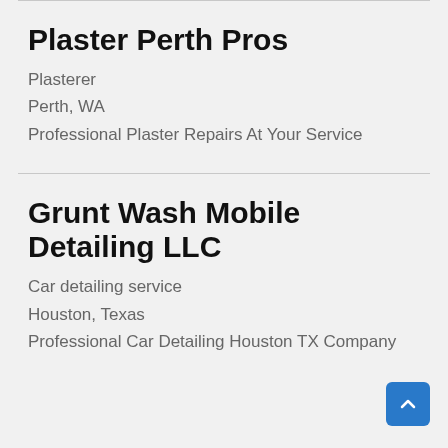Plaster Perth Pros
Plasterer
Perth, WA
Professional Plaster Repairs At Your Service
Grunt Wash Mobile Detailing LLC
Car detailing service
Houston, Texas
Professional Car Detailing Houston TX Company